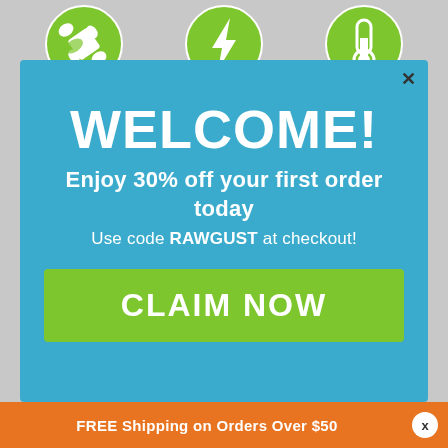[Figure (illustration): Three green circular icons at top: bone/leaf icon, lightning bolt icon, and thermometer/test tube icon]
WELCOME!
Enjoy 30% off your first order today
Use code RAWGUST at checkout!
CLAIM NOW
FREE Shipping on Orders Over $50